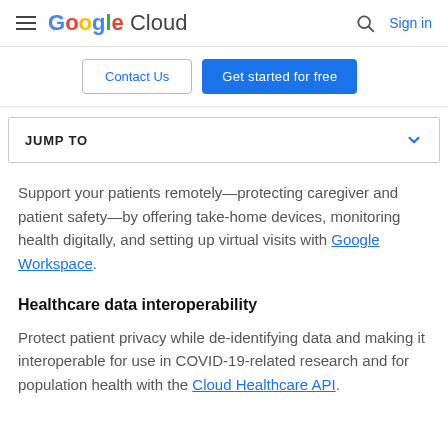Google Cloud — Sign in
Contact Us | Get started for free
JUMP TO
Support your patients remotely—protecting caregiver and patient safety—by offering take-home devices, monitoring health digitally, and setting up virtual visits with Google Workspace.
Healthcare data interoperability
Protect patient privacy while de-identifying data and making it interoperable for use in COVID-19-related research and for population health with the Cloud Healthcare API.